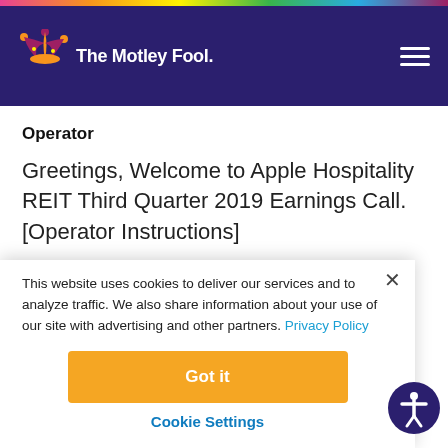[Figure (logo): The Motley Fool logo with jester hat icon on navy background header]
Operator
Greetings, Welcome to Apple Hospitality REIT Third Quarter 2019 Earnings Call. [Operator Instructions]
This website uses cookies to deliver our services and to analyze traffic. We also share information about your use of our site with advertising and other partners. Privacy Policy
Got it
Cookie Settings